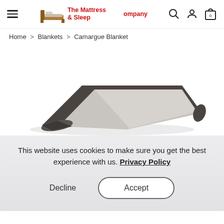The Mattress & Sleep Company — navigation header with hamburger menu, logo, search, account, and cart icons
Home > Blankets > Camargue Blanket
[Figure (photo): A folded grey blanket with dark charcoal border, partially unfolded, photographed on a white background from a slightly elevated angle.]
This website uses cookies to make sure you get the best experience with us. Privacy Policy
Decline
Accept